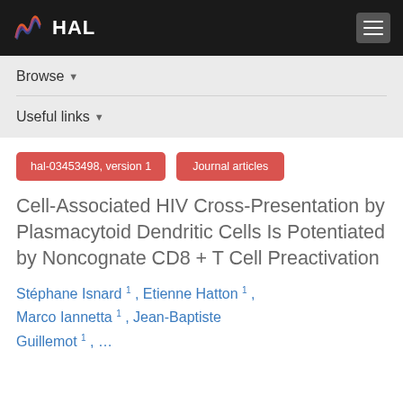HAL
Browse
Useful links
hal-03453498, version 1
Journal articles
Cell-Associated HIV Cross-Presentation by Plasmacytoid Dendritic Cells Is Potentiated by Noncognate CD8 + T Cell Preactivation
Stéphane Isnard 1 , Etienne Hatton 1 , Marco Iannetta 1 , Jean-Baptiste Guillemot 1 , …